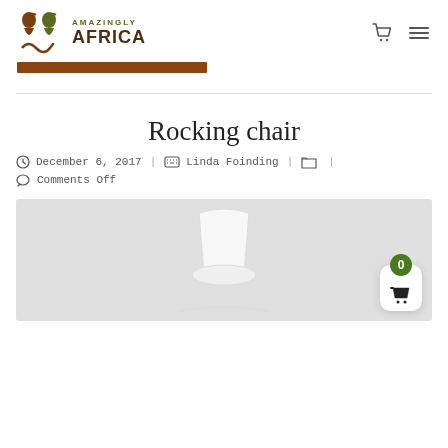[Figure (logo): Amazingly Africa logo with two squirrel-like figures above an infinity symbol, followed by text AMAZINGLY AFRICA]
[Figure (other): Brown progress/search bar element]
Rocking chair
December 6, 2017 | Linda Foinding |
Comments Off
[Figure (photo): Photo of a white rocking chair against a light grey background, partially visible]